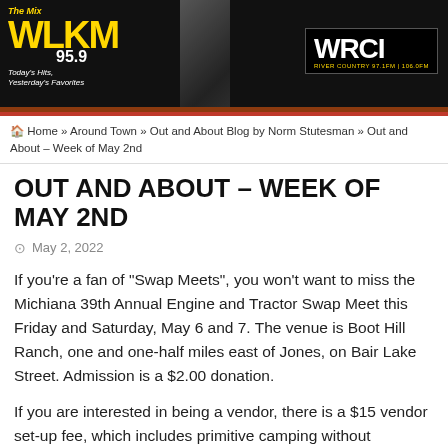[Figure (logo): WLKM 95.9 The Mix and WRCI River Country radio station banner header with celebrity photos]
🏠 Home » Around Town » Out and About Blog by Norm Stutesman » Out and About – Week of May 2nd
OUT AND ABOUT – WEEK OF MAY 2ND
May 2, 2022
If you're a fan of "Swap Meets", you won't want to miss the Michiana 39th Annual Engine and Tractor Swap Meet this Friday and Saturday, May 6 and 7. The venue is Boot Hill Ranch, one and one-half miles east of Jones, on Bair Lake Street. Admission is a $2.00 donation.
If you are interested in being a vendor, there is a $15 vendor set-up fee, which includes primitive camping without electricity. Gates open today at noon for vendors only. This event is presented by the St. Joe Valley Old